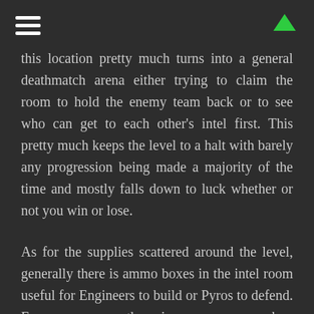[hamburger menu] [up arrow]
this location pretty much turns into a general deathmatch arena either trying to claim the room to hold the enemy team back or to see who can get to each other's intel first. This pretty much keeps the level to a halt with barely any progression being made a majority of the time and mostly falls down to luck whether or not you win or lose.
As for the supplies scattered around the level, generally there is ammo boxes in the intel room useful for Engineers to build or Pyros to defend. For some reason there is even an ammo box outside near spawn, possibly useful for the enemy but initially seems pointless and adds fuel to the fire for spawn camping Demomen. The largest room also consists of